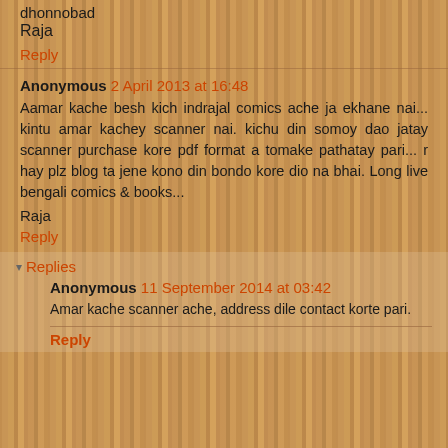dhonnobad
Raja
Reply
Anonymous 2 April 2013 at 16:48
Aamar kache besh kich indrajal comics ache ja ekhane nai... kintu amar kachey scanner nai. kichu din somoy dao jatay scanner purchase kore pdf format a tomake pathatay pari... r hay plz blog ta jene kono din bondo kore dio na bhai. Long live bengali comics & books...
Raja
Reply
Replies
Anonymous 11 September 2014 at 03:42
Amar kache scanner ache, address dile contact korte pari.
Reply